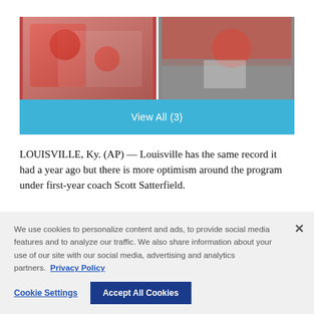[Figure (photo): Two sports photos side by side: left shows football players in red uniforms on the field; right shows a coach in red cap with players wearing jerseys #18 and Cunningham #3]
View All (3)
LOUISVILLE, Ky. (AP) — Louisville has the same record it had a year ago but there is more optimism around the program under first-year coach Scott Satterfield.
We use cookies to personalize content and ads, to provide social media features and to analyze our traffic. We also share information about your use of our site with our social media, advertising and analytics partners. Privacy Policy
Cookie Settings   Accept All Cookies